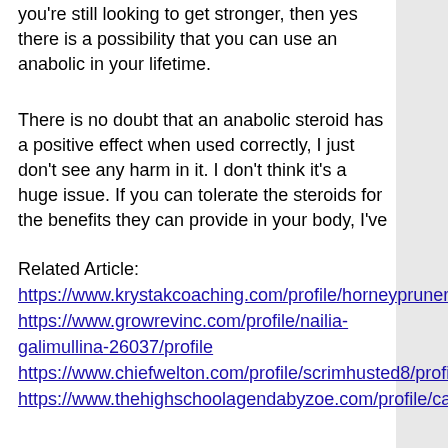you're still looking to get stronger, then yes there is a possibility that you can use an anabolic in your lifetime.
There is no doubt that an anabolic steroid has a positive effect when used correctly, I just don't see any harm in it. I don't think it's a huge issue. If you can tolerate the steroids for the benefits they can provide in your body, I've
Related Article: https://www.krystakcoaching.com/profile/horneyprunerp/profile https://www.growrevinc.com/profile/nailia-galimullina-26037/profile https://www.chiefwelton.com/profile/scrimhusted8/profile https://www.thehighschoolagendabyzoe.com/profile/canevanegriu/profile